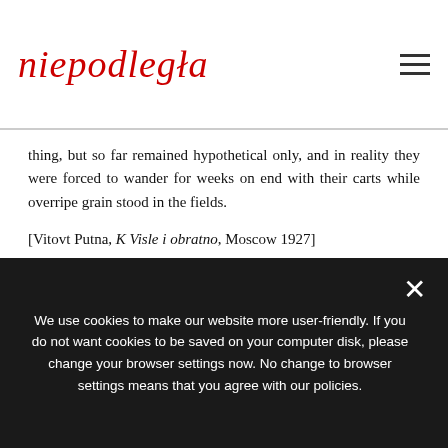niepodległa
thing, but so far remained hypothetical only, and in reality they were forced to wander for weeks on end with their carts while overripe grain stood in the fields.
[Vitovt Putna, K Visle i obratno, Moscow 1927]
Zofia Romanowiczówna (inhabitant of Lviv) in her diary:
We use cookies to make our website more user-friendly. If you do not want cookies to be saved on your computer disk, please change your browser settings now. No change to browser settings means that you agree with our policies.